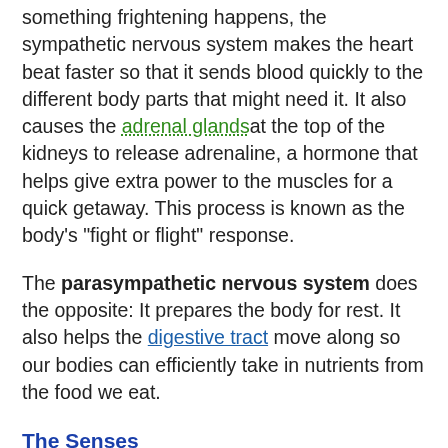something frightening happens, the sympathetic nervous system makes the heart beat faster so that it sends blood quickly to the different body parts that might need it. It also causes the adrenal glands at the top of the kidneys to release adrenaline, a hormone that helps give extra power to the muscles for a quick getaway. This process is known as the body's "fight or flight" response.
The parasympathetic nervous system does the opposite: It prepares the body for rest. It also helps the digestive tract move along so our bodies can efficiently take in nutrients from the food we eat.
The Senses
Sight. Sight probably tells us more about the world than any other sense. Light entering the eye forms an